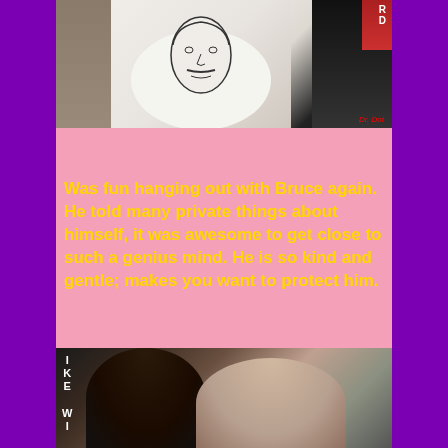[Figure (photo): Photo of people at an event; one person wearing a white t-shirt with a face sketch/illustration on it. Text 'Dr. Dot' in red in bottom right corner. Letter 'R D' visible in top right corner.]
Was fun hanging out with Bruce again. He told many private things about himself, it was awesome to get close to such a genius mind. He is so kind and gentle; makes you want to protect him.
[Figure (photo): Photo of two people (a man and a woman) posing together. Text 'IKE WI' visible on the left side in white bold letters.]